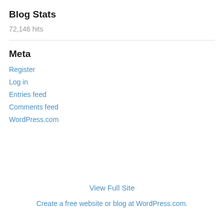Blog Stats
72,146 hits
Meta
Register
Log in
Entries feed
Comments feed
WordPress.com
View Full Site
Create a free website or blog at WordPress.com.